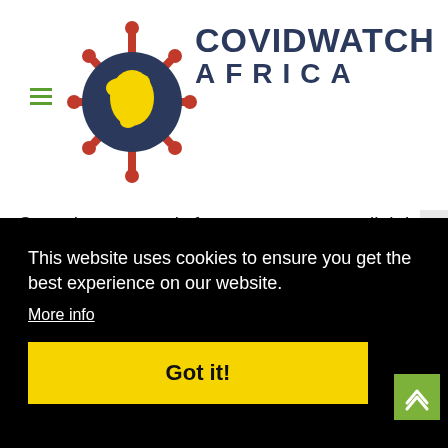[Figure (logo): CovidWatch Africa logo with coronavirus globe icon and text COVIDWATCH AFRICA in dark navy blue]
Congo's economy is forecast to contract slightly this year in line with a drop in global demand for copper and cobalt, two of its main exports.
Congo's mining industry will not be impacted by the
This website uses cookies to ensure you get the best experience on our website.
More info
Got it!